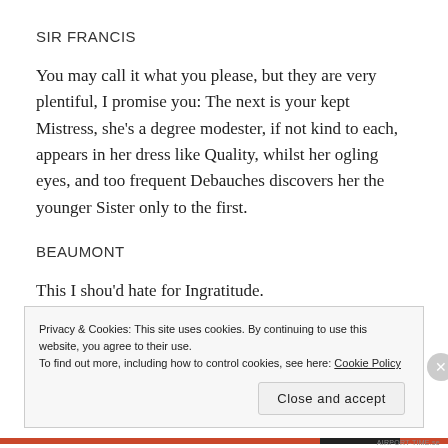SIR FRANCIS
You may call it what you please, but they are very plentiful, I promise you: The next is your kept Mistress, she’s a degree modester, if not kind to each, appears in her dress like Quality, whilst her ogling eyes, and too frequent Debauches discovers her the younger Sister only to the first.
BEAUMONT
This I shou’d hate for Ingratitude.
Privacy & Cookies: This site uses cookies. By continuing to use this website, you agree to their use.
To find out more, including how to control cookies, see here: Cookie Policy
Close and accept